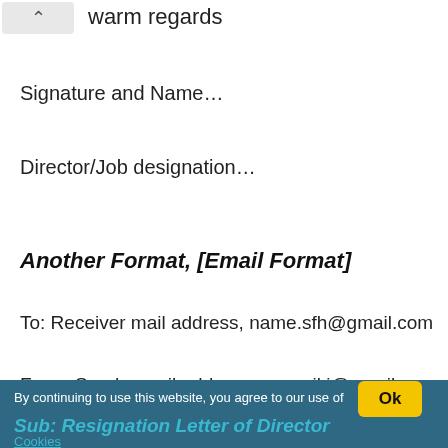warm regards
Signature and Name…
Director/Job designation…
Another Format, [Email Format]
To: Receiver mail address, name.sfh@gmail.com
From: Sender mail address, name.jkj@gmail.com
By continuing to use this website, you agree to our use of
Ok
Sub: Resignation Letter of Director
Cookies
Dear Sir/Name,
I at this moment tender my letter of resignation as